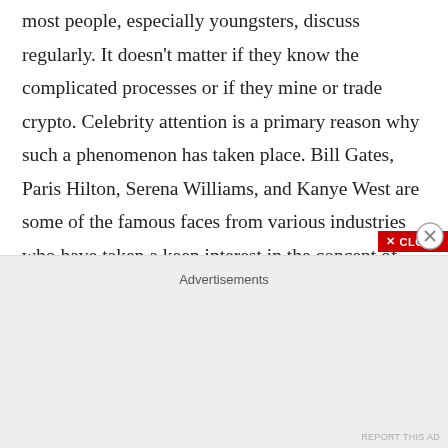most people, especially youngsters, discuss regularly. It doesn't matter if they know the complicated processes or if they mine or trade crypto. Celebrity attention is a primary reason why such a phenomenon has taken place. Bill Gates, Paris Hilton, Serena Williams, and Kanye West are some of the famous faces from various industries who have taken a keen interest in the concept of cryptocurrency. They have also invested in crypto and been vocal about it. Celebrities are the biggest influencers, and when a multi-millionaire supports a particular thing, you believe it!
Advertisements